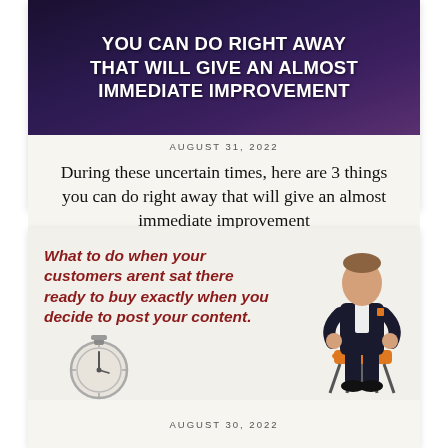[Figure (infographic): Dark purple/stormy background banner with bold white uppercase text: 'YOU CAN DO RIGHT AWAY THAT WILL GIVE AN ALMOST IMMEDIATE IMPROVEMENT']
AUGUST 31, 2022
During these uncertain times, here are 3 things you can do right away that will give an almost immediate improvement
[Figure (infographic): Light beige background with bold italic dark red text: 'What to do when your customers arent sat there ready to buy exactly when you decide to post your content.' A stopwatch illustration is at bottom left, and a man in a suit sitting on an orange chair is at the right.]
AUGUST 30, 2022